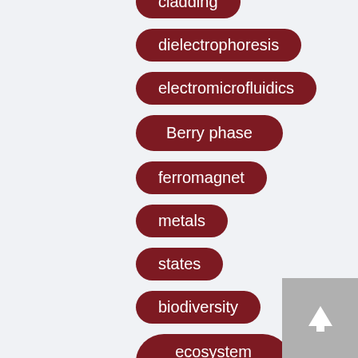cladding
dielectrophoresis
electromicrofluidics
Berry phase
ferromagnet
metals
states
biodiversity
ecosystem functions
paleontology
[Figure (other): Scroll-to-top button with upward arrow icon]